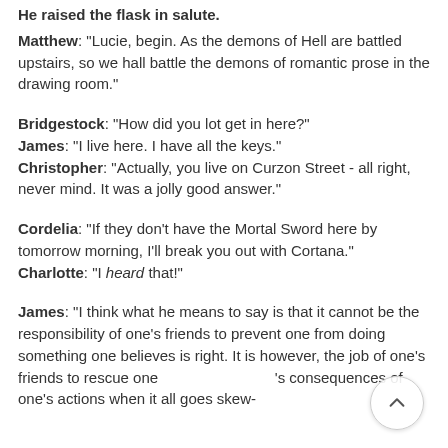He raised the flask in salute.
Matthew: "Lucie, begin.  As the demons of Hell are battled upstairs, so we hall battle the demons of romantic prose in the drawing room."
Bridgestock: "How did you lot get in here?"
James: "I live here.  I have all the keys."
Christopher: "Actually, you live on Curzon Street - all right, never mind.  It was a jolly good answer."
Cordelia: "If they don't have the Mortal Sword here by tomorrow morning, I'll break you out with Cortana."
Charlotte: "I heard that!"
James: "I think what he means to say is that it cannot be the responsibility of one's friends to prevent one from doing something one believes is right.  It is however, the job of one's friends to rescue one [from the] consequences of one's actions when it all goes skew-"